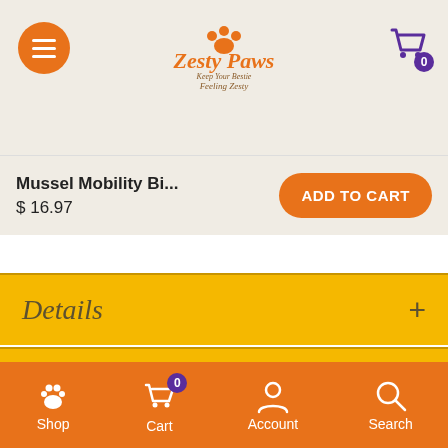[Figure (logo): Zesty Paws logo with paw print icon and tagline 'Keep Your Bestie Feeling Zesty']
Mussel Mobility Bi... $16.97
ADD TO CART
Details +
Ingredients +
Feeding Instructions +
Shop  Cart 0  Account  Search